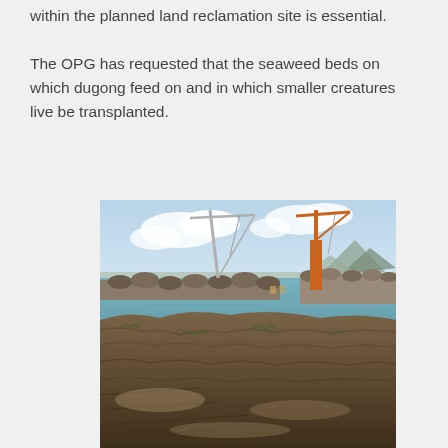within the planned land reclamation site is essential.
The OPG has requested that the seaweed beds on which dugong feed on and in which smaller creatures live be transplanted.
[Figure (photo): Coastal construction site showing cranes, a seawall or breakwater under construction, calm water, rocky shoreline in the foreground with exposed rocks and seaweed, mountains visible in the background under a partly cloudy sky.]